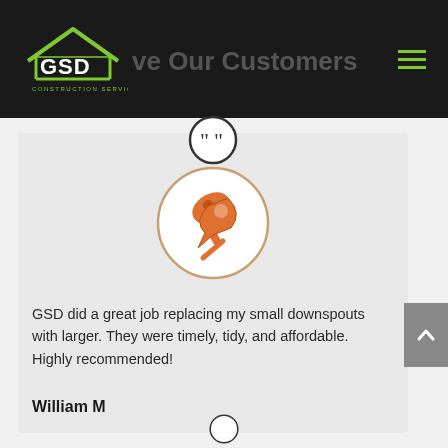GSD Construction Services - We Love Our Customers
[Figure (logo): GSD Construction Services logo with green house outline and GSD text in white on dark background]
ve Our Customers
[Figure (illustration): Orange thumbtack/pushpin icon inside a circular border]
GSD did a great job replacing my small downspouts with larger. They were timely, tidy, and affordable. Highly recommended!
William M